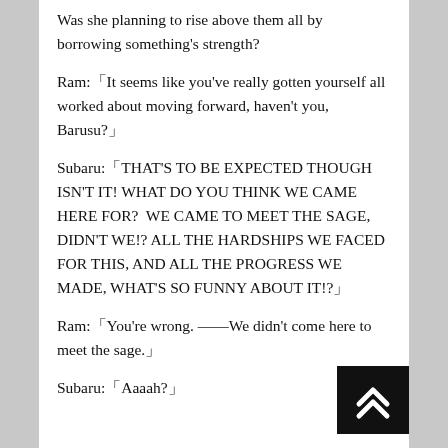Was she planning to rise above them all by borrowing something's strength?
Ram:「It seems like you've really gotten yourself all worked about moving forward, haven't you, Barusu?」
Subaru:「THAT'S TO BE EXPECTED THOUGH ISN'T IT! WHAT DO YOU THINK WE CAME HERE FOR?  WE CAME TO MEET THE SAGE, DIDN'T WE!? ALL THE HARDSHIPS WE FACED FOR THIS, AND ALL THE PROGRESS WE MADE, WHAT'S SO FUNNY ABOUT IT!?」
Ram:「You're wrong. ――We didn't come here to meet the sage.」
Subaru:「Aaaah?」
[Figure (other): Black square button with white double chevron up arrow icon in bottom-right corner]